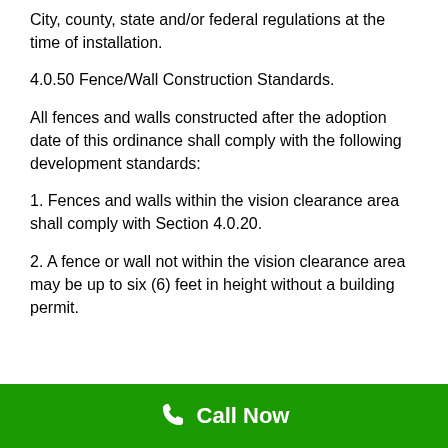City, county, state and/or federal regulations at the time of installation.
4.0.50 Fence/Wall Construction Standards.
All fences and walls constructed after the adoption date of this ordinance shall comply with the following development standards:
1. Fences and walls within the vision clearance area shall comply with Section 4.0.20.
2. A fence or wall not within the vision clearance area may be up to six (6) feet in height without a building permit.
Call Now